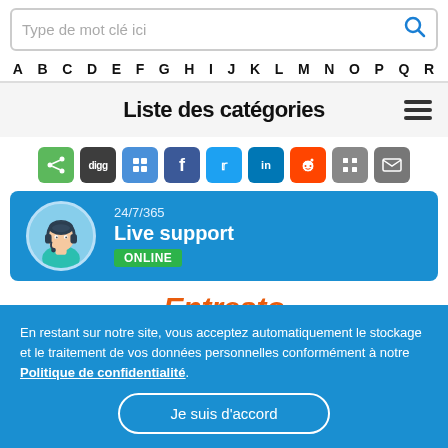Type de mot clé ici
A B C D E F G H I J K L M N O P Q R
Liste des catégories
[Figure (infographic): Social sharing icons row: share (green), digg (dark), delicious (blue), facebook (dark blue), twitter (blue), linkedin (dark blue), reddit (orange), grid (grey), mail (grey)]
[Figure (illustration): Live support banner with customer support avatar in circle, text 24/7/365, Live support, ONLINE badge on blue background]
Entresto
En restant sur notre site, vous acceptez automatiquement le stockage et le traitement de vos données personnelles conformément à notre Politique de confidentialité.
Je suis d'accord